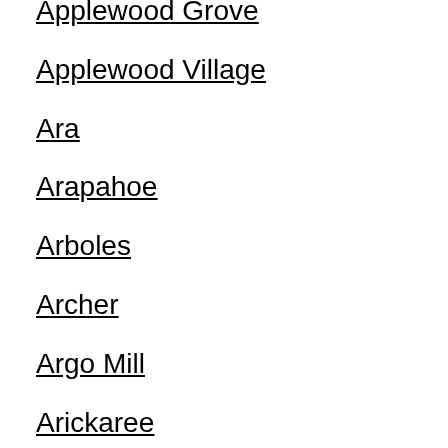Applewood Grove
Applewood Village
Ara
Arapahoe
Arboles
Archer
Argo Mill
Arickaree
Aristocrat Ranchettes
Arlington
Armel